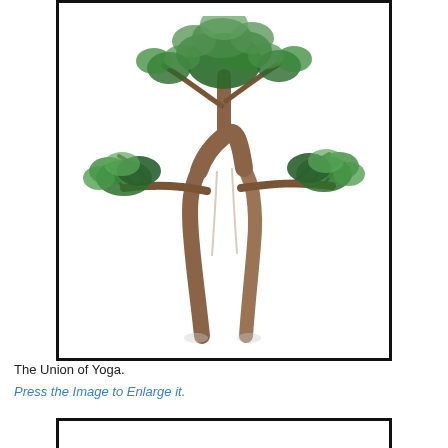[Figure (illustration): Illustration of a bonsai-style tree with two trunk legs resembling a human figure in a yoga tree pose. The tree has lush green foliage at the top and spreading horizontal branches at mid-height, with two long trunk legs standing on a white background, enclosed in a black-bordered box. Title: The Union of Yoga.]
The Union of Yoga.
Press the Image to Enlarge it.